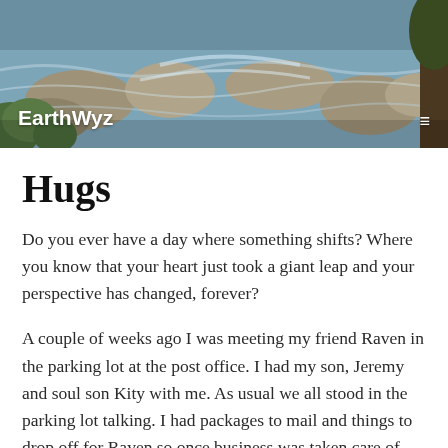[Figure (photo): Header photo of a rocky stream with flowing water, green foliage on left, rocks in background. Overlaid with 'EarthWyz' site branding on left and hamburger menu icon on right.]
Hugs
Do you ever have a day where something shifts? Where you know that your heart just took a giant leap and your perspective has changed, forever?
A couple of weeks ago I was meeting my friend Raven in the parking lot at the post office. I had my son, Jeremy and soul son Kity with me. As usual we all stood in the parking lot talking. I had packages to mail and things to drop off for Raven so once business was taken care of and we had finished our visit we were all hugging each other good-bye.